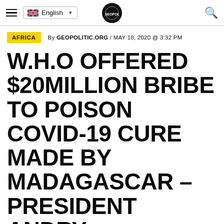English | GEOPOLITIC.ORG logo | Search
AFRICA   By GEOPOLITIC.ORG / MAY 18, 2020 @ 3:32 PM
W.H.O OFFERED $20MILLION BRIBE TO POISON COVID-19 CURE MADE BY MADAGASCAR – PRESIDENT ANDRY RAJOELINA CLAIMS